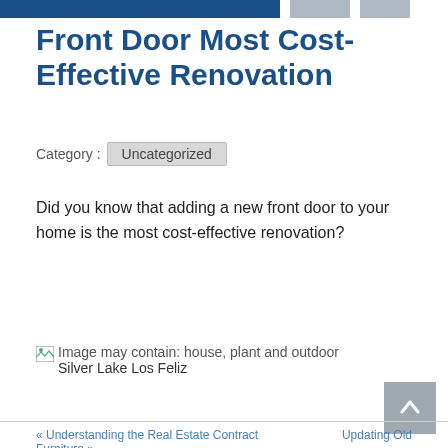Front Door Most Cost-Effective Renovation
Category : Uncategorized
Did you know that adding a new front door to your home is the most cost-effective renovation?
[Figure (photo): Broken image placeholder with alt text: Image may contain: house, plant and outdoor. Caption: Silver Lake Los Feliz]
« Understanding the Real Estate Contract    Updating Old Furniture »